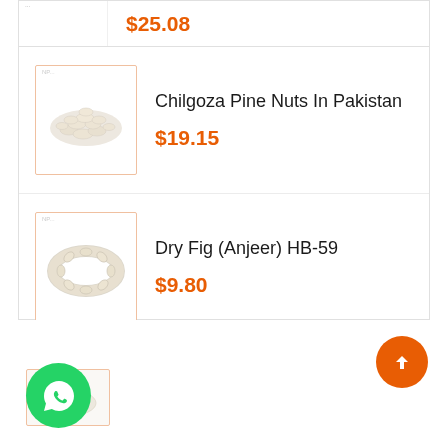$25.08
[Figure (photo): Product image of Chilgoza Pine Nuts - pale cream colored cluster of nuts]
Chilgoza Pine Nuts In Pakistan
$19.15
[Figure (photo): Product image of Dry Fig (Anjeer) HB-59 - ring of dried figs]
Dry Fig (Anjeer) HB-59
$9.80